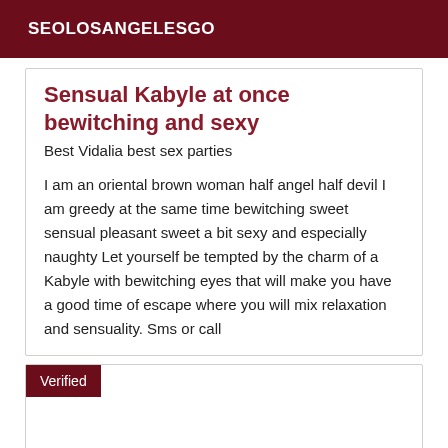SEOLOSANGELESGO
Sensual Kabyle at once bewitching and sexy
Best Vidalia best sex parties
I am an oriental brown woman half angel half devil I am greedy at the same time bewitching sweet sensual pleasant sweet a bit sexy and especially naughty Let yourself be tempted by the charm of a Kabyle with bewitching eyes that will make you have a good time of escape where you will mix relaxation and sensuality. Sms or call
Verified